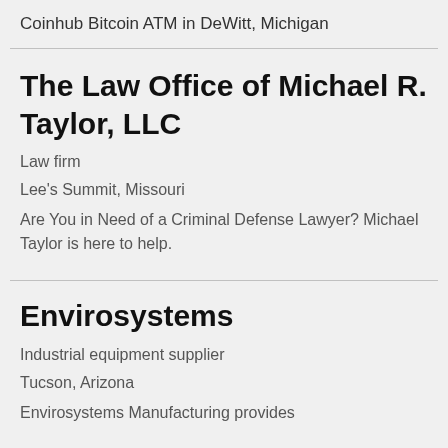Coinhub Bitcoin ATM in DeWitt, Michigan
The Law Office of Michael R. Taylor, LLC
Law firm
Lee's Summit, Missouri
Are You in Need of a Criminal Defense Lawyer? Michael Taylor is here to help.
Envirosystems
Industrial equipment supplier
Tucson, Arizona
Envirosystems Manufacturing provides